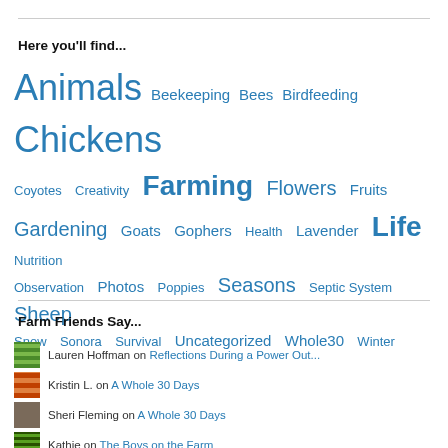Here you'll find...
Animals Beekeeping Bees Birdfeeding Chickens Coyotes Creativity Farming Flowers Fruits Gardening Goats Gophers Health Lavender Life Nutrition Observation Photos Poppies Seasons Septic System Sheep Snow Sonora Survival Uncategorized Whole30 Winter
Farm Friends Say...
Lauren Hoffman on Reflections During a Power Out...
Kristin L. on A Whole 30 Days
Sheri Fleming on A Whole 30 Days
Kathie on The Boys on the Farm